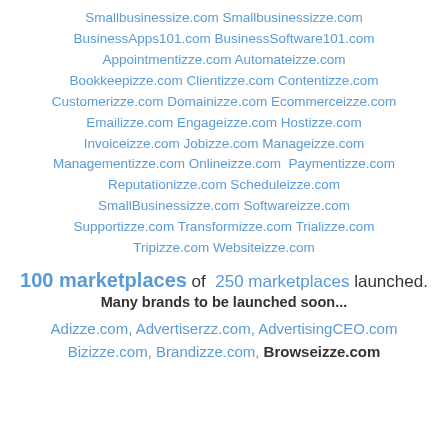Smallbusinessize.com Smallbusinessizze.com BusinessApps101.com BusinessSoftware101.com Appointmentizze.com Automateizze.com Bookkeepizze.com Clientizze.com Contentizze.com Customerizze.com Domainizze.com Ecommerceizze.com Emailizze.com Engageizze.com Hostizze.com Invoiceizze.com Jobizze.com Manageizze.com Managementizze.com Onlineizze.com Paymentizze.com Reputationizze.com Scheduleizze.com SmallBusinessizze.com Softwareizze.com Supportizze.com Transformizze.com Trializze.com Tripizze.com Websiteizze.com
100 marketplaces of 250 marketplaces launched. Many brands to be launched soon...
Adizze.com, Advertiserzz.com, AdvertisingCEO.com
Bizizze.com, Brandizze.com, Browseizze.com